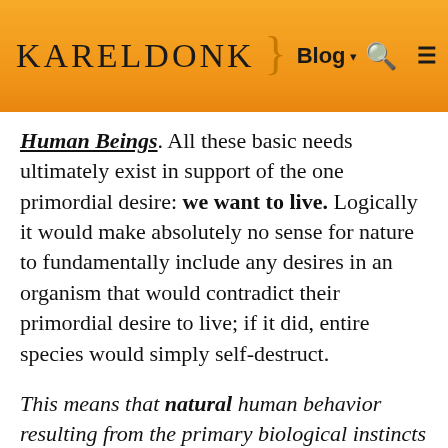KarelDonk } Blog ▾ 🔍 ≡
Human Beings. All these basic needs ultimately exist in support of the one primordial desire: we want to live. Logically it would make absolutely no sense for nature to fundamentally include any desires in an organism that would contradict their primordial desire to live; if it did, entire species would simply self-destruct.
This means that natural human behavior resulting from the primary biological instincts will always be consistent with the